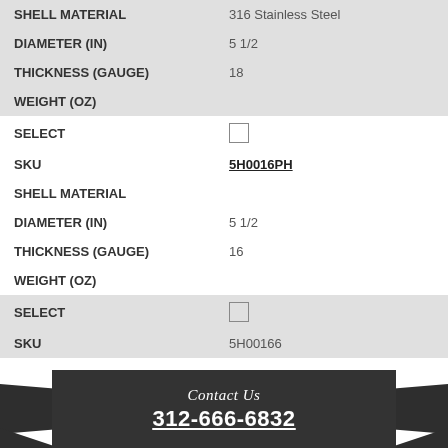|  |  |
| --- | --- |
| SHELL MATERIAL | 316 Stainless Steel |
| DIAMETER (IN) | 5 1/2 |
| THICKNESS (GAUGE) | 18 |
| WEIGHT (OZ) |  |
| SELECT | ☐ |
| SKU | 5H0016PH |
| SHELL MATERIAL |  |
| DIAMETER (IN) | 5 1/2 |
| THICKNESS (GAUGE) | 16 |
| WEIGHT (OZ) |  |
| SELECT | ☐ |
| SKU | 5H00166 |
[Figure (infographic): Dark banner with ribbon arrows on sides, text 'Contact Us' in italic script and '312-666-6832' in bold underlined white text.]